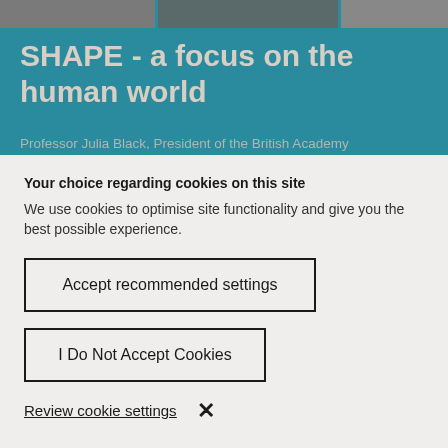[Figure (photo): Top banner showing a teal/blue background with a partially visible photograph of a person and grey photo segments at top]
SHAPE - a focus on the human world
Professor Julia Black, President of the British Academy
Your choice regarding cookies on this site
We use cookies to optimise site functionality and give you the best possible experience.
Accept recommended settings
I Do Not Accept Cookies
Review cookie settings